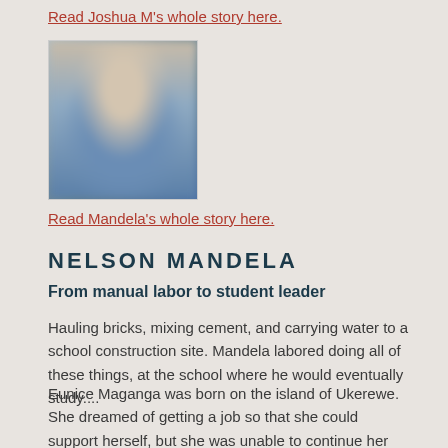Read Joshua M's whole story here.
[Figure (photo): Blurred portrait photo of a person]
Read Mandela's whole story here.
NELSON MANDELA
From manual labor to student leader
Hauling bricks, mixing cement, and carrying water to a school construction site. Mandela labored doing all of these things, at the school where he would eventually study....
Eunice Maganga was born on the island of Ukerewe. She dreamed of getting a job so that she could support herself, but she was unable to continue her education after ....